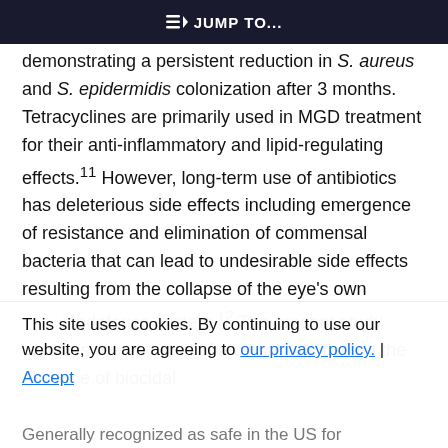JUMP TO...
demonstrating a persistent reduction in S. aureus and S. epidermidis colonization after 3 months. Tetracyclines are primarily used in MGD treatment for their anti-inflammatory and lipid-regulating effects.11 However, long-term use of antibiotics has deleterious side effects including emergence of resistance and elimination of commensal bacteria that can lead to undesirable side effects resulting from the collapse of the eye's own immunodefense system.12 The present study explores the potential of a compound that, in the absence of biocidal
This site uses cookies. By continuing to use our website, you are agreeing to our privacy policy. Accept
Generally recognized as safe in the US for